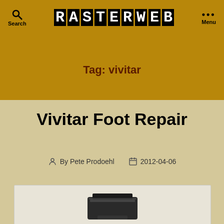RASTERWEB — Search / Menu
Tag: vivitar
Vivitar Foot Repair
By Pete Prodoehl   2012-04-06
[Figure (photo): Partial view of a black camera flash foot/shoe accessory against a light background]